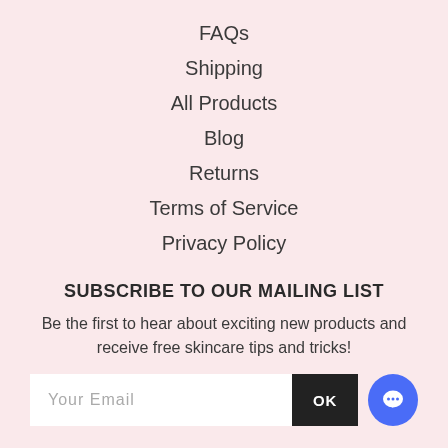FAQs
Shipping
All Products
Blog
Returns
Terms of Service
Privacy Policy
SUBSCRIBE TO OUR MAILING LIST
Be the first to hear about exciting new products and receive free skincare tips and tricks!